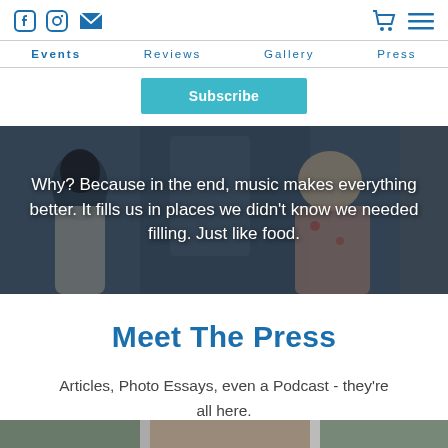Navigation header with social icons (Facebook, Instagram, Email) on left; cart and menu icons on right. Nav links: Events, Reviews, Gallery, Press
Subscribe
[Figure (photo): Photo of two women at a music event with dark blue overlay and white quote text: 'Why? Because in the end, music makes everything better. It fills us in places we didn't know we needed filling. Just like food.']
Meet The Press
Articles, Photo Essays, even a Podcast - they're all here.
[Figure (photo): Partial bottom strip showing additional photo content]